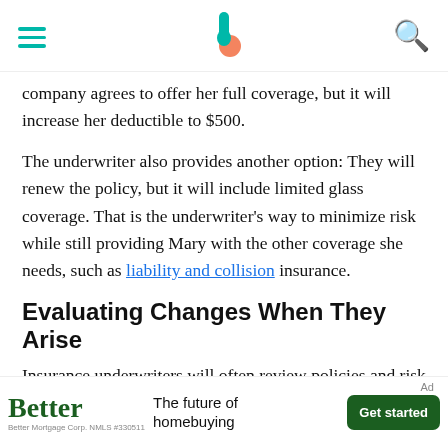[Navigation header with hamburger menu, Bankrate logo, and search icon]
company agrees to offer her full coverage, but it will increase her deductible to $500.
The underwriter also provides another option: They will renew the policy, but it will include limited glass coverage. That is the underwriter's way to minimize risk while still providing Mary with the other coverage she needs, such as liability and collision insurance.
Evaluating Changes When They Arise
Insurance underwriters will often review policies and risk information whenever a situation seems outside the norm. It doesn't mean that an underwriter will never look at your case again, just because you've
[Figure (other): Advertisement banner for Better mortgage: 'Better The future of homebuying' with a 'Get started' button and Better Mortgage Corp NMLS #330511 disclaimer.]